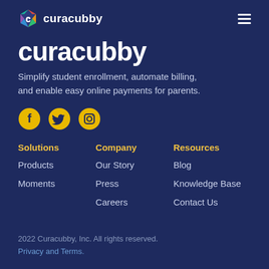curacubby (logo + nav)
curacubby
Simplify student enrollment, automate billing, and enable easy online payments for parents.
[Figure (infographic): Three social media icons: Facebook, Twitter, Instagram — golden circular buttons]
Solutions
Products
Moments
Company
Our Story
Press
Careers
Resources
Blog
Knowledge Base
Contact Us
2022 Curacubby, Inc. All rights reserved. Privacy and Terms.